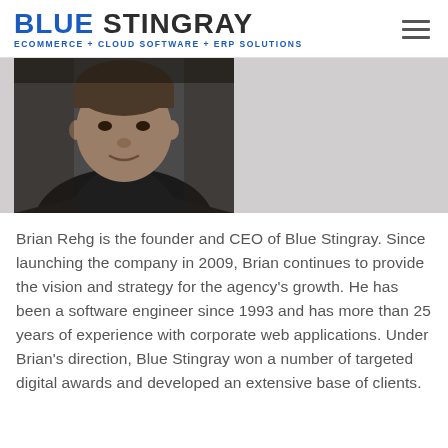BLUE STINGRAY ECOMMERCE + CLOUD SOFTWARE + ERP SOLUTIONS
[Figure (photo): Headshot photo of Brian Rehg, a middle-aged man in a dark shirt, cropped from chin down, against a dark background]
Brian Rehg is the founder and CEO of Blue Stingray. Since launching the company in 2009, Brian continues to provide the vision and strategy for the agency's growth. He has been a software engineer since 1993 and has more than 25 years of experience with corporate web applications. Under Brian's direction, Blue Stingray won a number of targeted digital awards and developed an extensive base of clients.